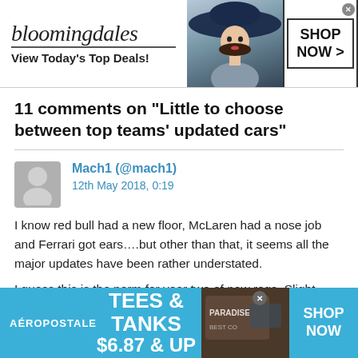[Figure (screenshot): Bloomingdales advertisement banner: logo, 'View Today's Top Deals!', woman with hat, 'SHOP NOW >' button]
11 comments on “Little to choose between top teams’ updated cars”
Mach1 (@mach1)
12th May 2018, 0:19
I know red bull had a new floor, McLaren had a nose job and Ferrari got ears….but other than that, it seems all the major updates have been rather understated.

I guess this is the norm for year two of new regs. Slight evolution, no revolution….
[Figure (screenshot): Aeropostale advertisement banner: 'TEES & TANKS $6.87 & UP', paradise-themed image, 'SHOP NOW' button]